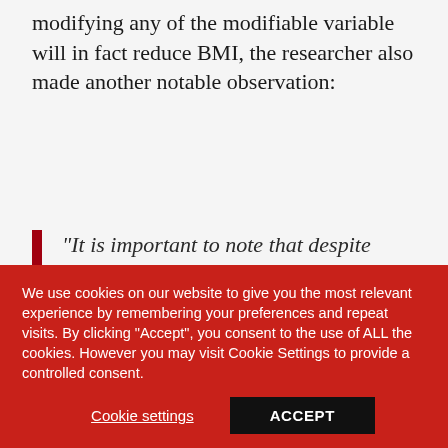modifying any of the modifiable variable will in fact reduce BMI, the researcher also made another notable observation:
“It is important to note that despite including many variables, this study was only able to explain a small amount of why people are obese. This means there are other reasons for the
We use cookies on our website to give you the most relevant experience by remembering your preferences and repeat visits. By clicking “Accept”, you consent to the use of ALL the cookies. However you may visit Cookie Settings to provide a controlled consent.